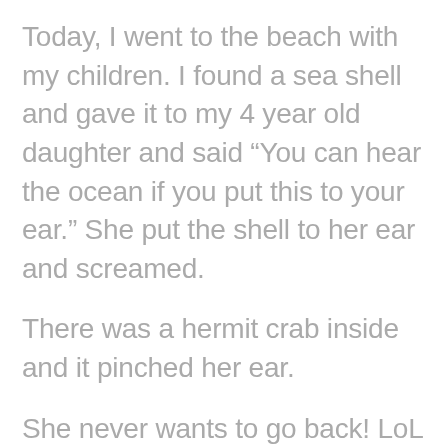Today, I went to the beach with my children. I found a sea shell and gave it to my 4 year old daughter and said “You can hear the ocean if you put this to your ear.” She put the shell to her ear and screamed.
There was a hermit crab inside and it pinched her ear.
She never wants to go back! LoL I know this is entirely off topic